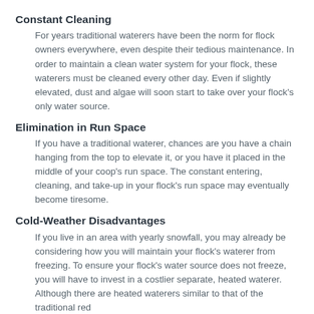Constant Cleaning
For years traditional waterers have been the norm for flock owners everywhere, even despite their tedious maintenance. In order to maintain a clean water system for your flock, these waterers must be cleaned every other day. Even if slightly elevated, dust and algae will soon start to take over your flock’s only water source.
Elimination in Run Space
If you have a traditional waterer, chances are you have a chain hanging from the top to elevate it, or you have it placed in the middle of your coop’s run space. The constant entering, cleaning, and take-up in your flock’s run space may eventually become tiresome.
Cold-Weather Disadvantages
If you live in an area with yearly snowfall, you may already be considering how you will maintain your flock’s waterer from freezing. To ensure your flock’s water source does not freeze, you will have to invest in a costlier separate, heated waterer. Although there are heated waterers similar to that of the traditional red